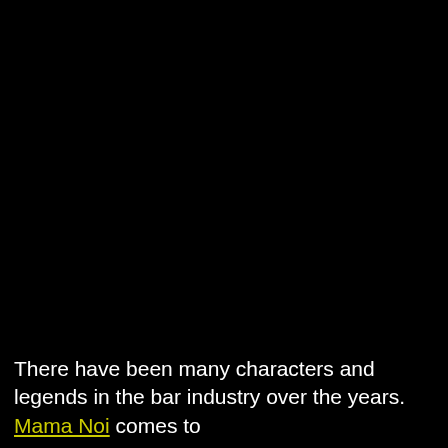[Figure (photo): Dark/black background image occupying the majority of the page]
There have been many characters and legends in the bar industry over the years. Mama Noi comes to